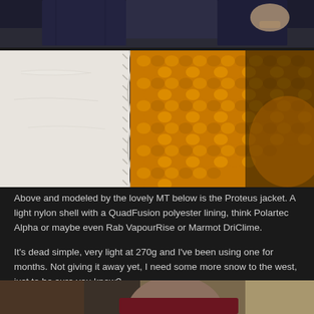[Figure (photo): Top portion of a photo showing a person's lower body in dark jeans, partial view cropped at top of page]
[Figure (photo): Close-up photo of a white nylon jacket shell with a yellow/mustard orange knitted or quilted polyester lining (QuadFusion), showing the seam between the outer shell and inner lining]
Above and modeled by the lovely MT below is the Proteus jacket. A light nylon shell with a QuadFusion polyester lining, think Polartec Alpha or maybe even Rab VapourRise or Marmot DriClime.
It's dead simple, very light at 270g and I've been using one for months. Not giving it away yet, I need some more snow to the west, just to be sure you know?
[Figure (photo): Bottom partial photo showing a bald person wearing a dark red/maroon jacket, seated, with a light-colored seat or furniture visible behind them]